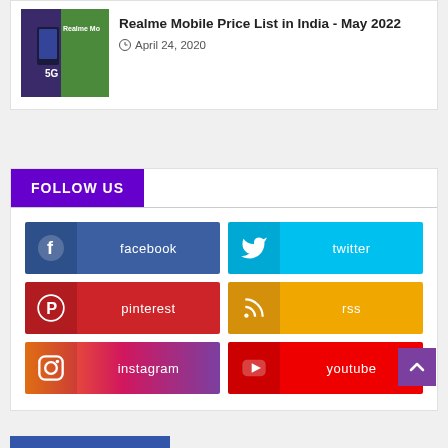[Figure (photo): Realme Mobile phone with 5G text on green/purple background thumbnail]
Realme Mobile Price List in India - May 2022
April 24, 2020
FOLLOW US
facebook
twitter
pinterest
rss
instagram
youtube